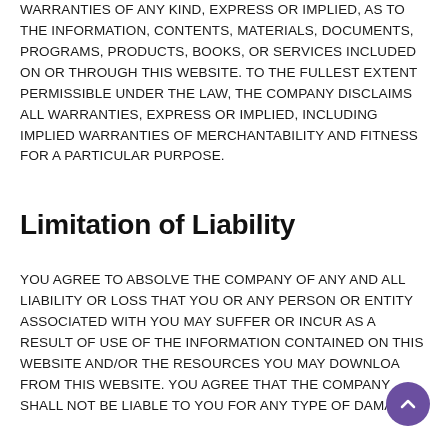WARRANTIES OF ANY KIND, EXPRESS OR IMPLIED, AS TO THE INFORMATION, CONTENTS, MATERIALS, DOCUMENTS, PROGRAMS, PRODUCTS, BOOKS, OR SERVICES INCLUDED ON OR THROUGH THIS WEBSITE. TO THE FULLEST EXTENT PERMISSIBLE UNDER THE LAW, THE COMPANY DISCLAIMS ALL WARRANTIES, EXPRESS OR IMPLIED, INCLUDING IMPLIED WARRANTIES OF MERCHANTABILITY AND FITNESS FOR A PARTICULAR PURPOSE.
Limitation of Liability
YOU AGREE TO ABSOLVE THE COMPANY OF ANY AND ALL LIABILITY OR LOSS THAT YOU OR ANY PERSON OR ENTITY ASSOCIATED WITH YOU MAY SUFFER OR INCUR AS A RESULT OF USE OF THE INFORMATION CONTAINED ON THIS WEBSITE AND/OR THE RESOURCES YOU MAY DOWNLOAD FROM THIS WEBSITE. YOU AGREE THAT THE COMPANY SHALL NOT BE LIABLE TO YOU FOR ANY TYPE OF DAMAGES